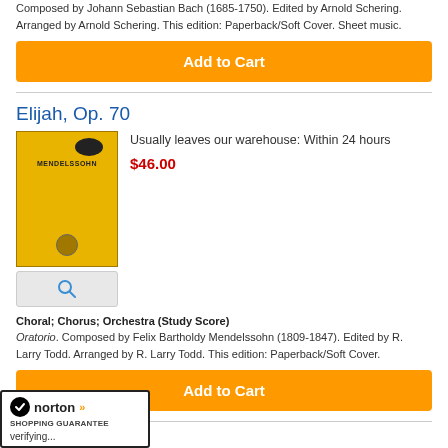Composed by Johann Sebastian Bach (1685-1750). Edited by Arnold Schering. Arranged by Arnold Schering. This edition: Paperback/Soft Cover. Sheet music.
Add to Cart
Elijah, Op. 70
Usually leaves our warehouse: Within 24 hours
$46.00
[Figure (photo): Yellow book cover for Mendelssohn Elijah Op. 70 with magnify button below]
Choral; Chorus; Orchestra (Study Score)
Oratorio. Composed by Felix Bartholdy Mendelssohn (1809-1847). Edited by R. Larry Todd. Arranged by R. Larry Todd. This edition: Paperback/Soft Cover.
Add to Cart
[Figure (logo): Norton Shopping Guarantee badge with verifying... text]